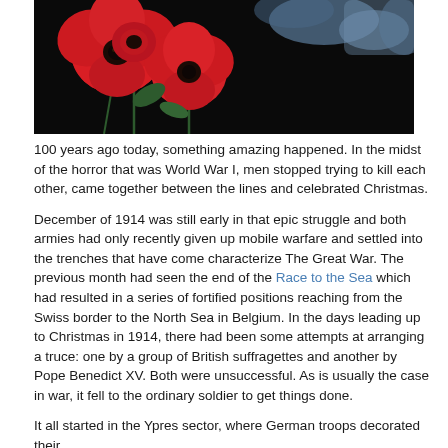[Figure (photo): Photograph of red poppy flowers against a dark background with blue-tinted abstract shapes in the upper right]
100 years ago today, something amazing happened. In the midst of the horror that was World War I, men stopped trying to kill each other, came together between the lines and celebrated Christmas.
December of 1914 was still early in that epic struggle and both armies had only recently given up mobile warfare and settled into the trenches that have come characterize The Great War. The previous month had seen the end of the Race to the Sea which had resulted in a series of fortified positions reaching from the Swiss border to the North Sea in Belgium. In the days leading up to Christmas in 1914, there had been some attempts at arranging a truce: one by a group of British suffragettes and another by Pope Benedict XV. Both were unsuccessful. As is usually the case in war, it fell to the ordinary soldier to get things done.
It all started in the Ypres sector, where German troops decorated their